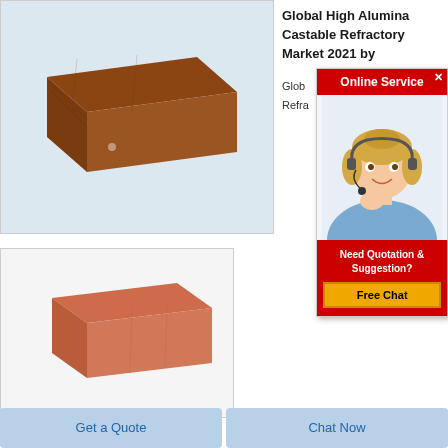[Figure (photo): Large brown rectangular refractory brick on white/light blue background]
Global High Alumina Castable Refractory Market 2021 by
Global... Refra...
[Figure (photo): Smaller terracotta/orange-red rectangular refractory brick on white background]
[Figure (screenshot): Online Service popup with red header, customer service agent photo, Need Quotation & Suggestion? text, and Free Chat yellow button]
Get a Quote
Chat Now